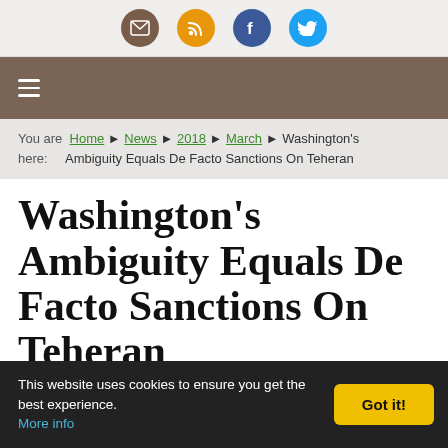[Figure (other): Social media icon buttons: email (brown), RSS (orange), Facebook (blue), Twitter (light blue)]
Navigation menu bar with hamburger icon
You are here: Home > News > 2018 > March > Washington's Ambiguity Equals De Facto Sanctions On Teheran
Washington's Ambiguity Equals De Facto Sanctions On Teheran
by Ann-Kathrin Pohlers (United Nations)
Friday, March 30, 2018
Inter Press Service
This website uses cookies to ensure you get the best experience. More info | Got it!